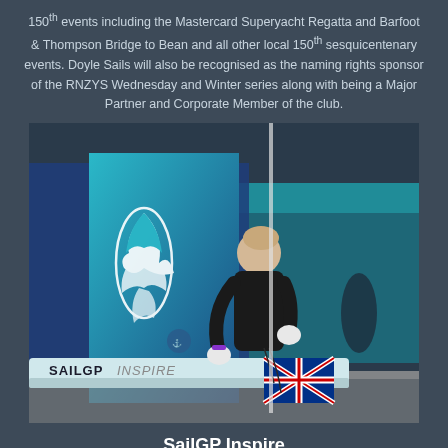150th events including the Mastercard Superyacht Regatta and Barfoot & Thompson Bridge to Bean and all other local 150th sesquicentenary events. Doyle Sails will also be recognised as the naming rights sponsor of the RNZYS Wednesday and Winter series along with being a Major Partner and Corporate Member of the club.
[Figure (photo): A young sailor wearing a black t-shirt leans over a small sailing dinghy labeled 'SAILGP INSPIRE' with a Union Jack flag. The sail behind him shows a stylized bird/kiwi logo in white. The background shows a marina setting with teal and blue tones.]
SailGP Inspire